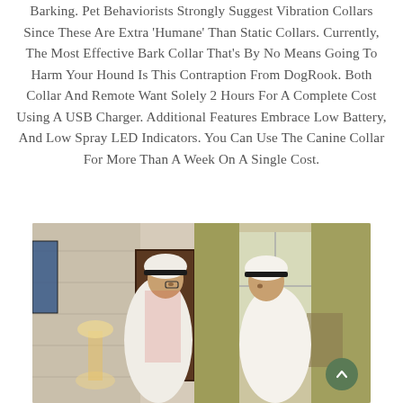Barking. Pet Behaviorists Strongly Suggest Vibration Collars Since These Are Extra 'Humane' Than Static Collars. Currently, The Most Effective Bark Collar That's By No Means Going To Harm Your Hound Is This Contraption From DogRook. Both Collar And Remote Want Solely 2 Hours For A Complete Cost Using A USB Charger. Additional Features Embrace Low Battery, And Low Spray LED Indicators. You Can Use The Canine Collar For More Than A Week On A Single Cost.
[Figure (photo): Two men in traditional Saudi Arabian dress (thobes and ghutras) appearing to greet or converse in an ornate room with curtains and stone walls.]